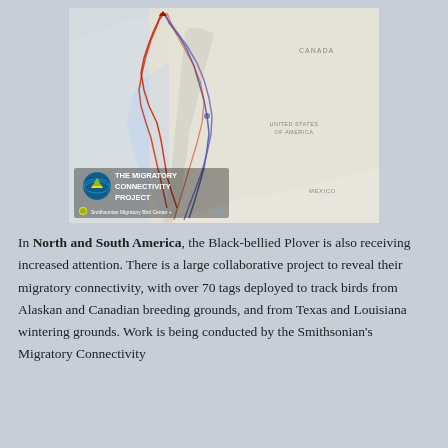[Figure (map): Map showing migratory bird tracking routes for Black-bellied Plover across North America, with colored lines (red and blue/purple) tracing migration paths from Alaska/Canada breeding grounds southward along the Pacific coast to wintering grounds. The Migratory Connectivity Project logo is displayed on the map, along with Smithsonian Migratory Bird Center and USGS attribution.]
In North and South America, the Black-bellied Plover is also receiving increased attention. There is a large collaborative project to reveal their migratory connectivity, with over 70 tags deployed to track birds from Alaskan and Canadian breeding grounds, and from Texas and Louisiana wintering grounds. Work is being conducted by the Smithsonian's Migratory Connectivity